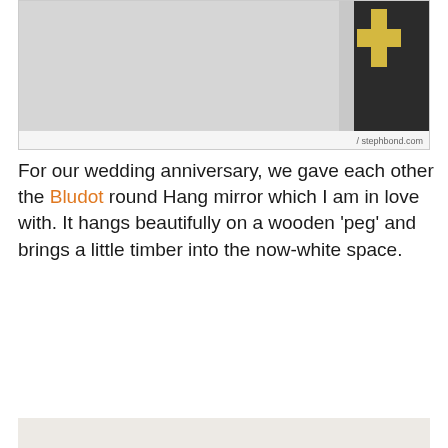[Figure (photo): Top portion of a room photo showing a light gray wall with a dark fabric with cross/plus pattern in the top right corner. Photo credit: stephbond.com]
For our wedding anniversary, we gave each other the Bludot round Hang mirror which I am in love with. It hangs beautifully on a wooden 'peg' and brings a little timber into the now-white space.
[Figure (photo): Close-up photo of a round Bludot Hang mirror resting on a wooden peg/hook mounted on a white wall. The mirror is circular with a walnut wood frame on one side, and a dark wooden peg with a keyhole-shaped hook is visible.]